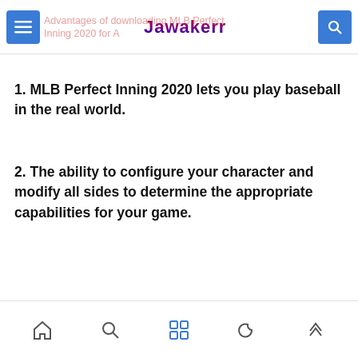Advantages of downloading MLB Perfect Inning 2020 for Android — Jawakerr
1. MLB Perfect Inning 2020 lets you play baseball in the real world.
2. The ability to configure your character and modify all sides to determine the appropriate capabilities for your game.
Navigation bar with home, search, grid, moon, and up-arrow icons